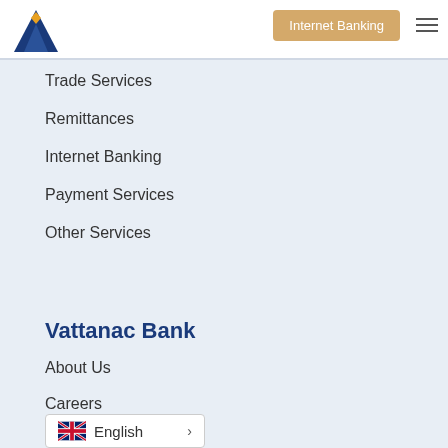[Figure (logo): Vattanac Bank logo — blue mountain/triangle shape with orange diamond accent]
Internet Banking
Trade Services
Remittances
Internet Banking
Payment Services
Other Services
Vattanac Bank
About Us
Careers
Contact
News
English >